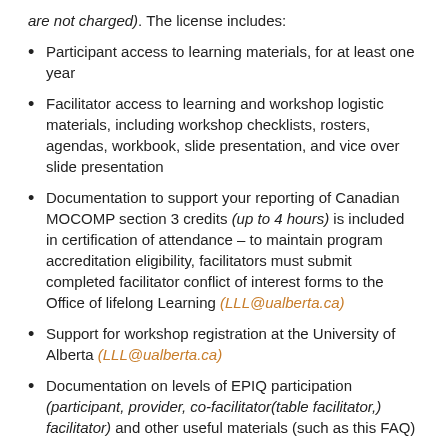are not charged).  The license includes:
Participant access to learning materials, for at least one year
Facilitator access to learning and workshop logistic materials, including workshop checklists, rosters, agendas, workbook, slide presentation, and vice over slide presentation
Documentation to support your reporting of Canadian MOCOMP section 3 credits (up to 4 hours) is included in certification of attendance – to maintain program accreditation eligibility, facilitators must submit completed facilitator conflict of interest forms to the Office of lifelong Learning (LLL@ualberta.ca)
Support for workshop registration at the University of Alberta (LLL@ualberta.ca)
Documentation on levels of EPIQ participation (participant, provider, co-facilitator(table facilitator,) facilitator) and other useful materials (such as this FAQ)